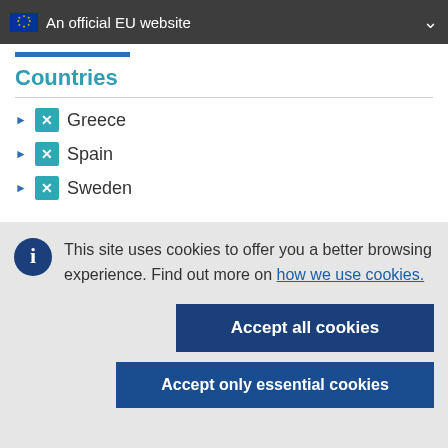An official EU website
Countries
Greece
Spain
Sweden
This site uses cookies to offer you a better browsing experience. Find out more on how we use cookies.
Accept all cookies
Accept only essential cookies